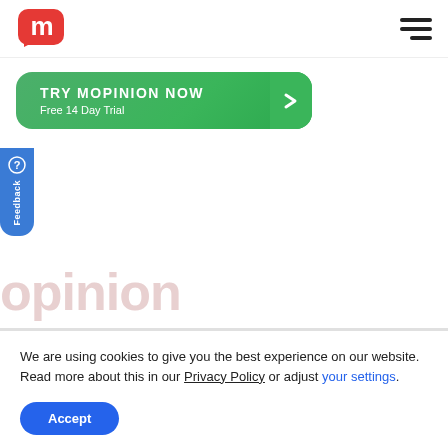[Figure (logo): Mopinion logo: red 'm' letter in speech bubble shape]
[Figure (other): Hamburger menu icon (three horizontal lines)]
[Figure (other): Green CTA button: TRY MOPINION NOW / Free 14 Day Trial with right arrow]
[Figure (other): Blue vertical feedback tab on left side with feedback icon and label]
opinion
We are using cookies to give you the best experience on our website.
Read more about this in our Privacy Policy or adjust your settings.
[Figure (other): Accept button (blue rounded rectangle)]